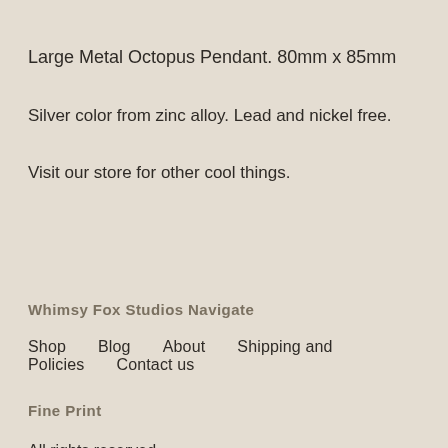Large Metal Octopus Pendant. 80mm x 85mm
Silver color from zinc alloy. Lead and nickel free.
Visit our store for other cool things.
Whimsy Fox Studios
Navigate
Shop    Blog    About    Shipping and Policies    Contact us
Fine Print
All rights reserved
© 2022 Whimsy Fox Studios
Powered by Etsy